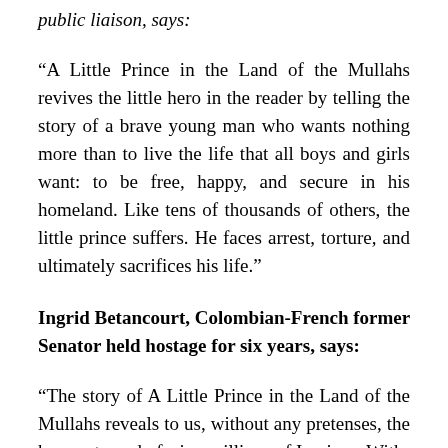public liaison, says:
“A Little Prince in the Land of the Mullahs revives the little hero in the reader by telling the story of a brave young man who wants nothing more than to live the life that all boys and girls want: to be free, happy, and secure in his homeland. Like tens of thousands of others, the little prince suffers. He faces arrest, torture, and ultimately sacrifices his life.”
Ingrid Betancourt, Colombian-French former Senator held hostage for six years, says:
“The story of A Little Prince in the Land of the Mullahs reveals to us, without any pretenses, the human tragedy facing millions of Iranians. With